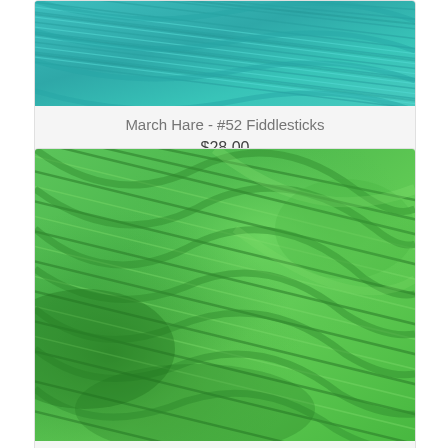[Figure (photo): Close-up photo of teal/turquoise twisted yarn skeins (top portion cropped, partially visible)]
March Hare - #52 Fiddlesticks
$28.00
[Figure (photo): Close-up photo of bright green twisted yarn skeins showing texture and twist detail]
March Hare - #7 Cabbages & Kings
$28.00